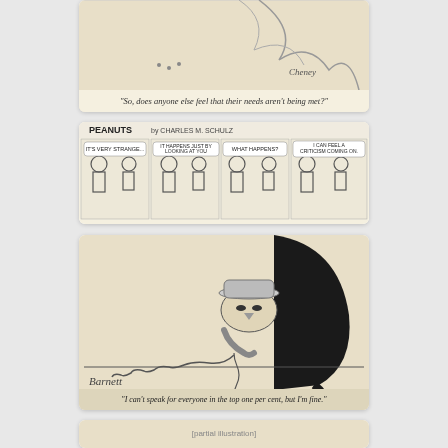[Figure (illustration): Cartoon/comic illustration (bird/nature scene) with caption: 'So, does anyone else feel that their needs aren't being met?' Signed by artist (Cheney).]
[Figure (illustration): Peanuts comic strip by Charles M. Schulz, four panels showing Lucy and Charlie Brown. Speech bubbles: 'IT'S VERY STRANGE...', 'IT HAPPENS JUST BY LOOKING AT YOU', 'WHAT HAPPENS?', 'I CAN FEEL A CRITICISM COMING ON.']
[Figure (illustration): Single-panel cartoon by Barnett showing a large dark figure on a telephone. Caption: 'I can't speak for everyone in the top one per cent, but I'm fine.']
[Figure (illustration): Partial cartoon illustration visible at bottom of page (cropped).]